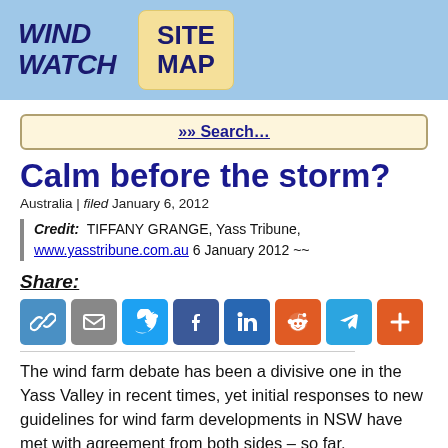WIND WATCH | SITE MAP
»» Search…
Calm before the storm?
Australia | filed January 6, 2012
Credit: TIFFANY GRANGE, Yass Tribune, www.yasstribune.com.au 6 January 2012 ~~
Share:
[Figure (infographic): Social sharing icons: link, email, Twitter, Facebook, LinkedIn, Reddit, Telegram, more]
The wind farm debate has been a divisive one in the Yass Valley in recent times, yet initial responses to new guidelines for wind farm developments in NSW have met with agreement from both sides – so far.